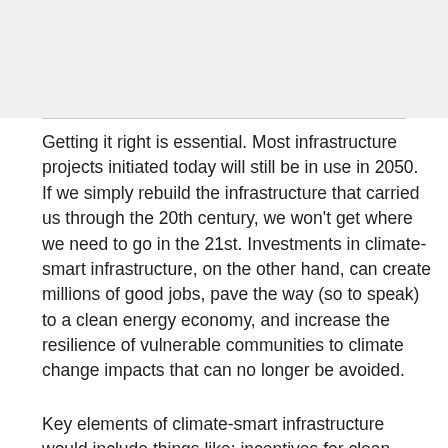[Figure (photo): Top image area, appears to be a faded/light photograph or banner image]
Getting it right is essential. Most infrastructure projects initiated today will still be in use in 2050. If we simply rebuild the infrastructure that carried us through the 20th century, we won't get where we need to go in the 21st. Investments in climate-smart infrastructure, on the other hand, can create millions of good jobs, pave the way (so to speak) to a clean energy economy, and increase the resilience of vulnerable communities to climate change impacts that can no longer be avoided.
Key elements of climate-smart infrastructure would include things like: incentives for clean